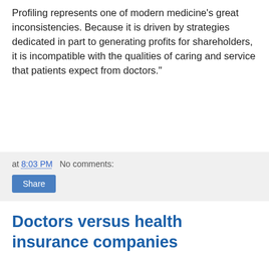Profiling represents one of modern medicine's great inconsistencies. Because it is driven by strategies dedicated in part to generating profits for shareholders, it is incompatible with the qualities of caring and service that patients expect from doctors."
at 8:03 PM   No comments:
Share
Doctors versus health insurance companies
Doctors versus health insurance companies: "Economic oversight of doctors performed by heath insurers carries an inherent flaw that cannot help but undermine doctors' integrity and their bonds with patients. That flaw is the inextricable relationship that insurers have with shareholders. Having to generate profits will always present a dangerous temptation for insurers to rationalize that good